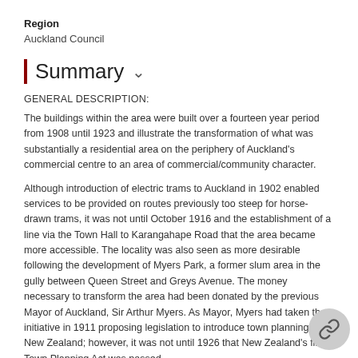Region
Auckland Council
Summary ∨
GENERAL DESCRIPTION:
The buildings within the area were built over a fourteen year period from 1908 until 1923 and illustrate the transformation of what was substantially a residential area on the periphery of Auckland's commercial centre to an area of commercial/community character.
Although introduction of electric trams to Auckland in 1902 enabled services to be provided on routes previously too steep for horse-drawn trams, it was not until October 1916 and the establishment of a line via the Town Hall to Karangahape Road that the area became more accessible. The locality was also seen as more desirable following the development of Myers Park, a former slum area in the gully between Queen Street and Greys Avenue. The money necessary to transform the area had been donated by the previous Mayor of Auckland, Sir Arthur Myers. As Mayor, Myers had taken the initiative in 1911 proposing legislation to introduce town planning to New Zealand; however, it was not until 1926 that New Zealand's first Town Planning Act was passed.